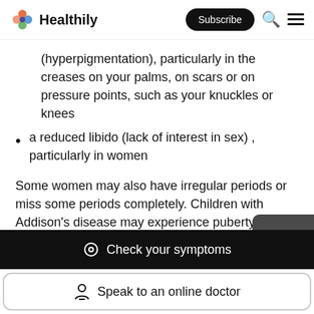Healthily — Subscribe
(hyperpigmentation), particularly in the creases on your palms, on scars or on pressure points, such as your knuckles or knees
a reduced libido (lack of interest in sex) , particularly in women
Some women may also have irregular periods or miss some periods completely. Children with Addison's disease may experience puberty later than usual.
Some people with Addison's disease also develop low blood sugar (hypoglycaemia). This can cause symptoms
Check your symptoms
Speak to an online doctor